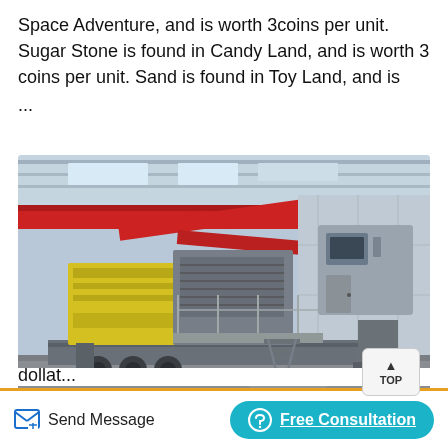Space Adventure, and is worth 3coins per unit. Sugar Stone is found in Candy Land, and is worth 3 coins per unit. Sand is found in Toy Land, and is ...
[Figure (photo): Industrial mobile crushing/screening machine on a trailer inside a large warehouse/factory with red overhead crane beams. Machine is grey and yellow, with stairs and a control cabin.]
dollat... (partially visible text at bottom)
Send Message   Free Consultation